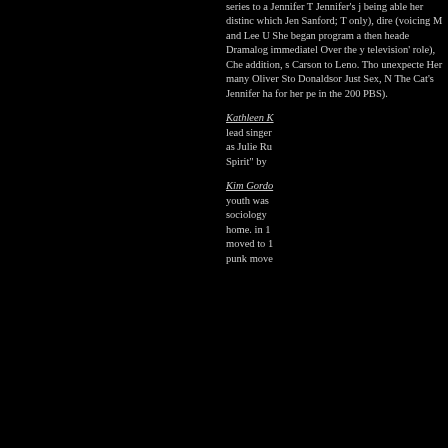series to a Jennifer T Jennifer's j being able her distinc which Jen Sanford; T only), dire (voicing M and Lee U She began program a then heade Dramalog immediatel Over the y television' role), Che addition, s Carson to Leno. Tho unexpecte Her many Oliver Sto Donaldsor Just Sex, N The Cat's Jennifer ha for her pe in the 200 PBS).
Kathleen K lead singer as Julie Ru Spirit" by
Kim Gordo youth was sociology home. in 1 moved to 1 punk move